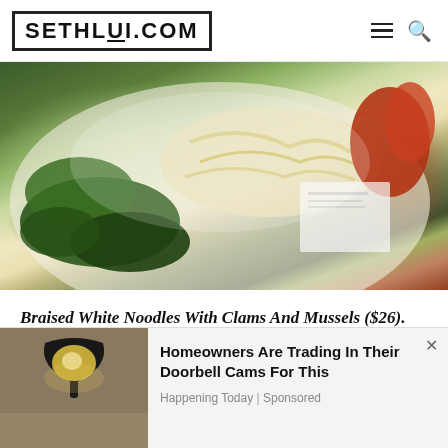SETHLUI.COM
[Figure (photo): Close-up photo of braised white noodles dish with green leafy vegetables on a white plate, with a red decorative element and menu/card in the background.]
Braised White Noodles With Clams And Mussels ($26). This white bee hoon dish felt very homely and warming with its light eggy, milky and peppery flavours so similar to a mother's recipe. I must say that the clams and mussels were very well-cooked as they maintained their thick and juicy states.
[Figure (photo): Advertisement banner showing an outdoor wall lamp/sconce on a textured wall. Ad text: 'Homeowners Are Trading In Their Doorbell Cams For This' — Happening Today | Sponsored]